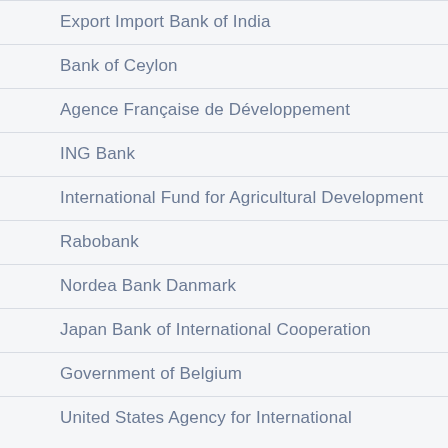Export Import Bank of India
Bank of Ceylon
Agence Française de Développement
ING Bank
International Fund for Agricultural Development
Rabobank
Nordea Bank Danmark
Japan Bank of International Cooperation
Government of Belgium
United States Agency for International